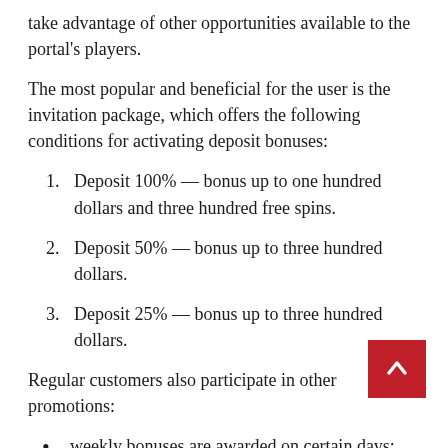take advantage of other opportunities available to the portal's players.
The most popular and beneficial for the user is the invitation package, which offers the following conditions for activating deposit bonuses:
1. Deposit 100% — bonus up to one hundred dollars and three hundred free spins.
2. Deposit 50% — bonus up to three hundred dollars.
3. Deposit 25% — bonus up to three hundred dollars.
Regular customers also participate in other promotions:
weekly bonuses are awarded on certain days;